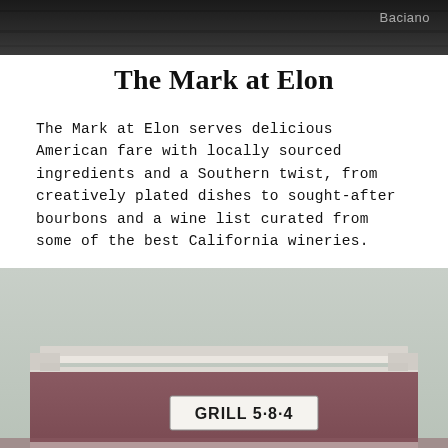[Figure (photo): Dark toned photo at the top of the page, partially cropped, with 'Baciano' text watermark in the upper right corner]
The Mark at Elon
The Mark at Elon serves delicious American fare with locally sourced ingredients and a Southern twist, from creatively plated dishes to sought-after bourbons and a wine list curated from some of the best California wineries.
[Figure (photo): Exterior photo of a building with a 'GRILL 5·8·4' sign, muted/desaturated color tones with a pale sky background, showing the roofline and upper facade of the restaurant]